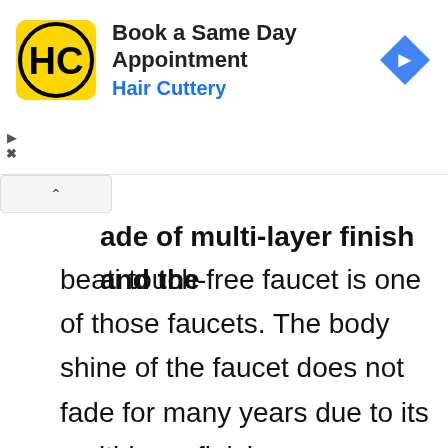[Figure (screenshot): Hair Cuttery advertisement banner with yellow square logo showing HC letters, text 'Book a Same Day Appointment' and 'Hair Cuttery' in blue, and a blue diamond-shaped arrow icon on the right.]
ade of multi-layer finish and the beati touch-free faucet is one of those faucets. The body shine of the faucet does not fade for many years due to its multi-layer finish.

The cartridge is used to give further strengthen the faucet. Cartridge helps to make the drip-free operation of the faucet. The sensor of the faucet is